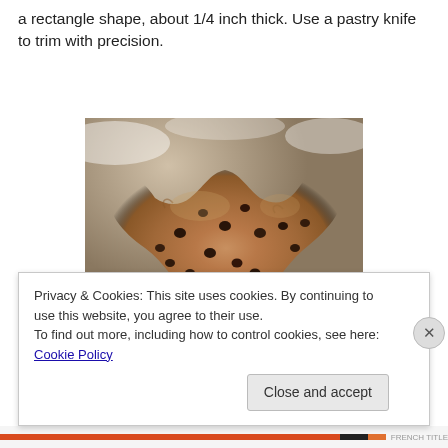a rectangle shape, about 1/4 inch thick. Use a pastry knife to trim with precision.
[Figure (photo): Cookie dough shaped into a rough heart/blob shape on a floured surface, with chocolate chips visible throughout.]
Privacy & Cookies: This site uses cookies. By continuing to use this website, you agree to their use.
To find out more, including how to control cookies, see here: Cookie Policy
Close and accept